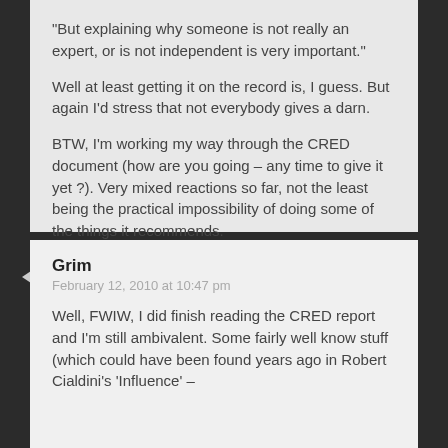"But explaining why someone is not really an expert, or is not independent is very important."

Well at least getting it on the record is, I guess. But again I'd stress that not everybody gives a darn.

BTW, I'm working my way through the CRED document (how are you going – any time to give it yet ?). Very mixed reactions so far, not the least being the practical impossibility of doing some of the things it recommends.
Grim
February 12, 2010 at 10:47 pm

Well, FWIW, I did finish reading the CRED report and I'm still ambivalent. Some fairly well know stuff (which could have been found years ago in Robert Cialdini's 'Influence' –